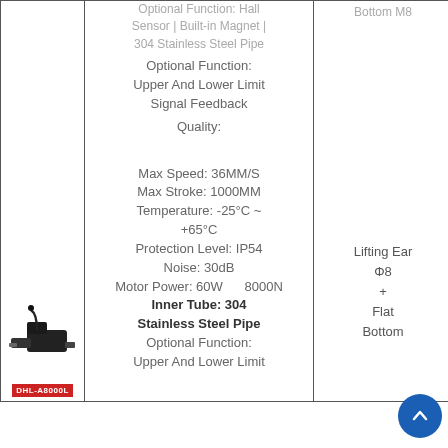| (image) | Specifications | Mount Info |
| --- | --- | --- |
|  | Optional Function: Hall Sensor | Built-in Magnet | 304 Stainless Steel Pipe | Bottom M8 |
|  | Optional Function: Upper And Lower Limit Signal Feedback |  |
|  | Quality: |  |
|  | Max Speed: 36MM/S |  |
|  | Max Stroke: 1000MM |  |
|  | Temperature: -25°C ~ +65°C |  |
|  | Protection Level: IP54 | Lifting Ear |
|  | Noise: 30dB | Φ8 |
|  | Motor Power: 60W   8000N | + |
|  | Inner Tube: 304 Stainless Steel Pipe | Flat Bottom |
|  | Optional Function: |  |
|  | Upper And Lower Limit |  |
[Figure (photo): DHL-A8000L linear actuator product photo with red label]
[Figure (other): Scroll-to-top button, circular blue with upward arrow]